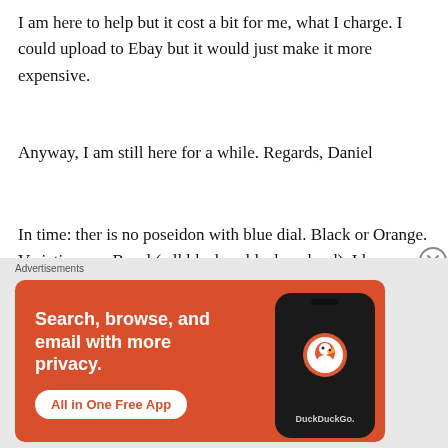I am here to help but it cost a bit for me, what I charge. I could upload to Ebay but it would just make it more expensive.
Anyway, I am still here for a while. Regards, Daniel
In time: ther is no poseidon with blue dial. Black or Orange. Variations on Bezel ( all black or black and red). I kave pictures from tha watch and watch box and tools. How can I post it here?
[Figure (screenshot): DuckDuckGo advertisement banner with orange background. Text reads: 'Search, browse, and email with more privacy. All in One Free App' with a phone showing the DuckDuckGo app icon.]